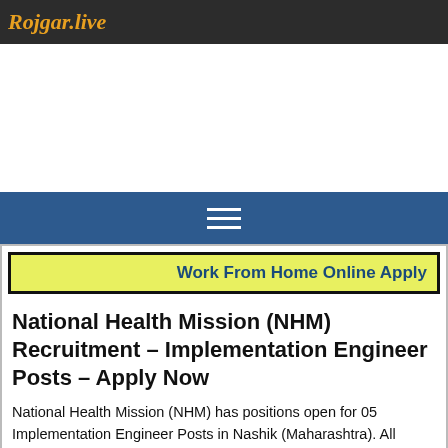Rojgar.live
[Figure (other): Advertisement / blank white area]
[Figure (other): Navigation bar with hamburger menu icon (three horizontal white lines on blue background)]
Work From Home Online Apply
National Health Mission (NHM) Recruitment – Implementation Engineer Posts – Apply Now
National Health Mission (NHM) has positions open for 05 Implementation Engineer Posts in Nashik (Maharashtra). All positions require a minimum Degree Pass candidate. The